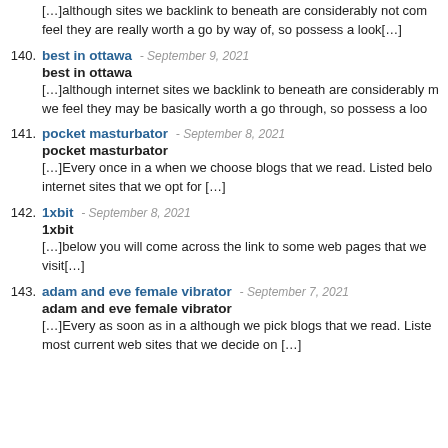[…]although sites we backlink to beneath are considerably not com feel they are really worth a go by way of, so possess a look[…]
140. best in ottawa - September 9, 2021
best in ottawa
[…]although internet sites we backlink to beneath are considerably m we feel they may be basically worth a go through, so possess a loo
141. pocket masturbator - September 8, 2021
pocket masturbator
[…]Every once in a when we choose blogs that we read. Listed belo internet sites that we opt for […]
142. 1xbit - September 8, 2021
1xbit
[…]below you will come across the link to some web pages that we visit[…]
143. adam and eve female vibrator - September 7, 2021
adam and eve female vibrator
[…]Every as soon as in a although we pick blogs that we read. Liste most current web sites that we decide on […]